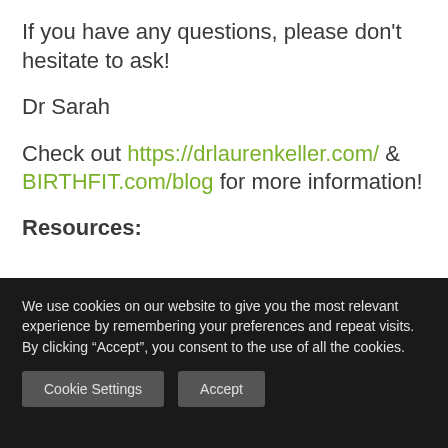If you have any questions, please don't hesitate to ask!
Dr Sarah
Check out https://drlaurenkeller.com/ & BIRTHFIT.com/blog for more information!
Resources:
We use cookies on our website to give you the most relevant experience by remembering your preferences and repeat visits. By clicking “Accept”, you consent to the use of all the cookies.